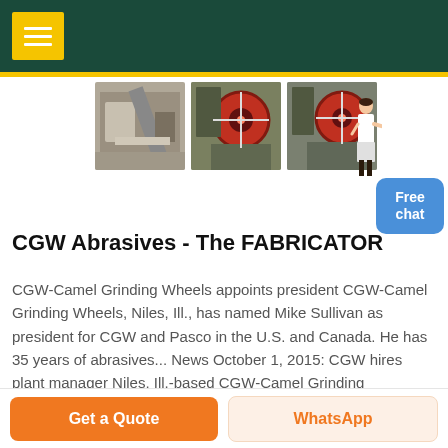Menu navigation header with yellow menu button
[Figure (photo): Three industrial machinery/abrasives equipment photos showing crushing/grinding machinery]
CGW Abrasives - The FABRICATOR
CGW-Camel Grinding Wheels appoints president CGW-Camel Grinding Wheels, Niles, Ill., has named Mike Sullivan as president for CGW and Pasco in the U.S. and Canada. He has 35 years of abrasives... News October 1, 2015: CGW hires plant manager Niles, Ill.-based CGW-Camel Grinding
Get a Quote | WhatsApp